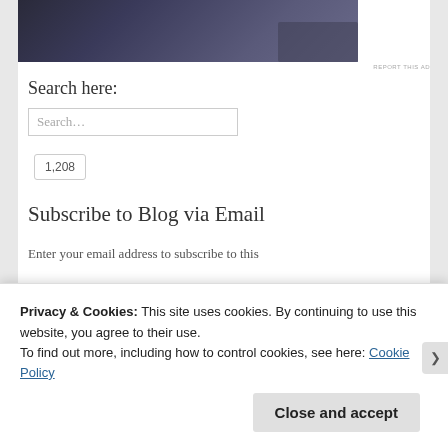[Figure (photo): Dark-toned photo of what appears to be papers or a desk scene, partially cropped at top]
REPORT THIS AD
Search here:
[Figure (screenshot): Search input box with placeholder text 'Search...']
[Figure (infographic): Follow Becoming Christians button (cyan/teal) with WordPress icon and follower count badge showing 1,208]
Subscribe to Blog via Email
Enter your email address to subscribe to this
Privacy & Cookies: This site uses cookies. By continuing to use this website, you agree to their use.
To find out more, including how to control cookies, see here: Cookie Policy
Close and accept